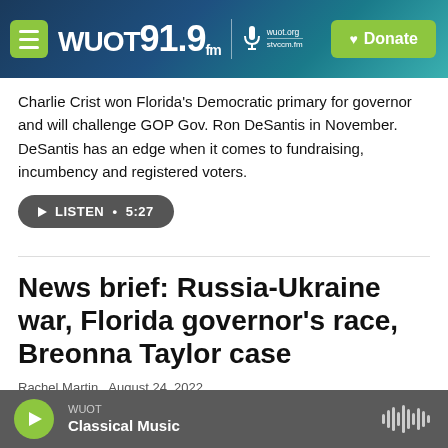WUOT 91.9 FM | wuot.org | Donate
Charlie Crist won Florida's Democratic primary for governor and will challenge GOP Gov. Ron DeSantis in November. DeSantis has an edge when it comes to fundraising, incumbency and registered voters.
LISTEN • 5:27
News brief: Russia-Ukraine war, Florida governor's race, Breonna Taylor case
Rachel Martin,  August 24, 2022
It's been six months since Russia invaded Ukraine.
WUOT Classical Music